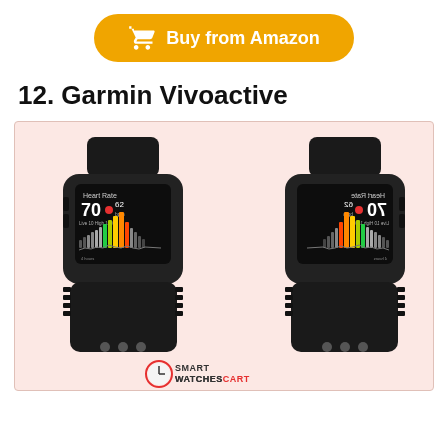[Figure (other): Orange 'Buy from Amazon' button with shopping cart icon]
12. Garmin Vivoactive
[Figure (photo): Two Garmin Vivoactive smartwatches shown side by side on a pinkish background, both displaying heart rate data on their screens. The right watch appears as a mirror image of the left. A SmartWatchesCart logo appears at the bottom.]